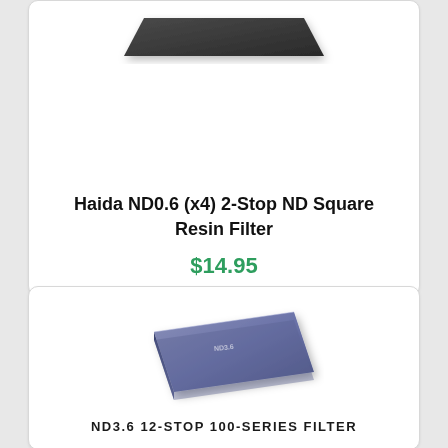[Figure (photo): Top portion of a dark/black flat ND square resin filter photographed at an angle against white background]
Haida ND0.6 (x4) 2-Stop ND Square Resin Filter
$14.95
[Figure (photo): Blue-grey square ND3.6 12-stop 100-series filter photographed at slight angle against white background]
ND3.6 12-STOP 100-SERIES FILTER